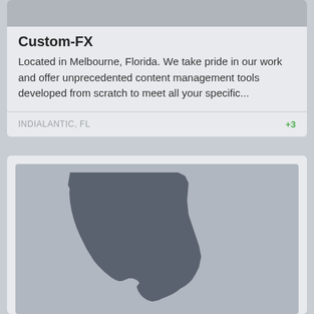Custom-FX
Located in Melbourne, Florida. We take pride in our work and offer unprecedented content management tools developed from scratch to meet all your specific...
INDIALANTIC, FL
+3
[Figure (map): Silhouette map of the state of Florida on a light gray background]